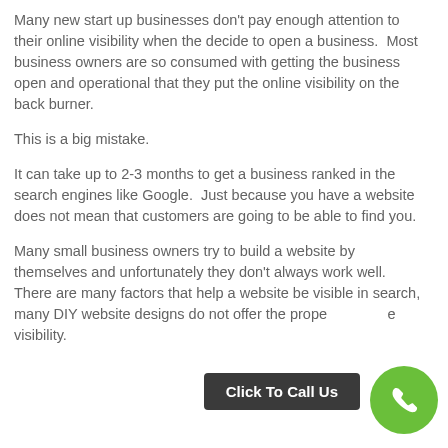Many new start up businesses don't pay enough attention to their online visibility when the decide to open a business.  Most business owners are so consumed with getting the business open and operational that they put the online visibility on the back burner.
This is a big mistake.
It can take up to 2-3 months to get a business ranked in the search engines like Google.  Just because you have a website does not mean that customers are going to be able to find you.
Many small business owners try to build a website by themselves and unfortunately they don't always work well.  There are many factors that help a website be visible in search, many DIY website designs do not offer the prope[r] [SEO for] visibility.